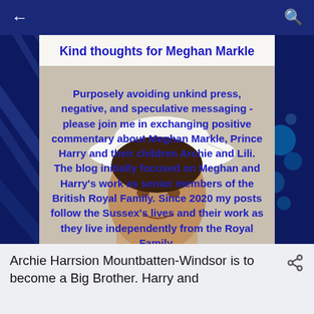[Figure (screenshot): Mobile app screenshot showing a blog called 'Kind thoughts for Meghan Markle' with a photo of Meghan Markle wearing a white hat, overlaid with blue bold text describing the blog's purpose. Navigation arrows and search icon visible at top. Below the image is a white footer with article preview text.]
Kind thoughts for Meghan Markle
Purposely avoiding unkind press, negative, and speculative messaging - please join me in exchanging positive commentary about Meghan Markle, Prince Harry and their children Archie and Lili. The blog initially focused on Meghan and Harry's work as senior members of the British Royal Family. Since 2020 my posts follow the Sussex's lives and their work as they live independently from the Royal Family.
Archie Harrsion Mountbatten-Windsor is to become a Big Brother. Harry and